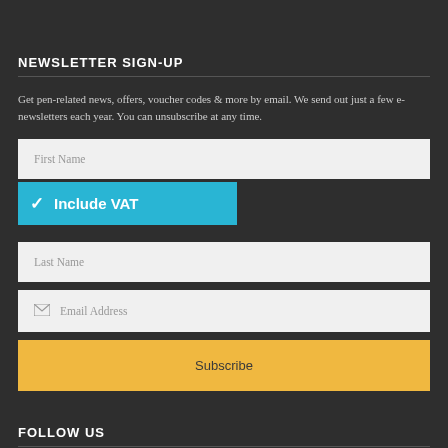NEWSLETTER SIGN-UP
Get pen-related news, offers, voucher codes & more by email. We send out just a few e-newsletters each year. You can unsubscribe at any time.
First Name
[Figure (infographic): A tooltip/badge overlay with a checkmark and text 'Include VAT' on a cyan/teal background]
Last Name
Email Address
Subscribe
FOLLOW US